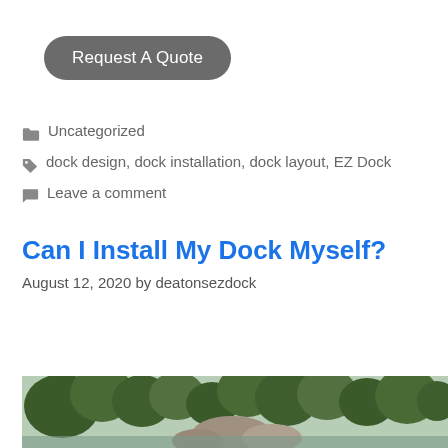Request A Quote
Uncategorized
dock design, dock installation, dock layout, EZ Dock
Leave a comment
Can I Install My Dock Myself?
August 12, 2020 by deatonsezdock
[Figure (photo): Outdoor scene with trees and water, partially visible at the bottom of the page]